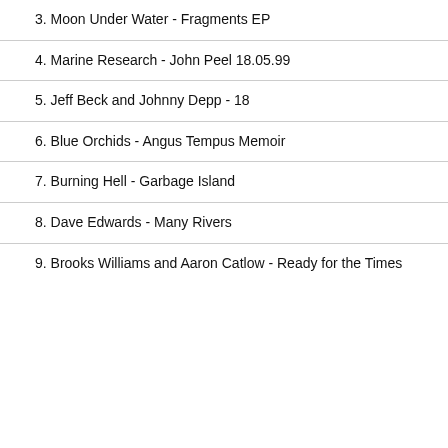3. Moon Under Water - Fragments EP
4. Marine Research - John Peel 18.05.99
5. Jeff Beck and Johnny Depp - 18
6. Blue Orchids - Angus Tempus Memoir
7. Burning Hell - Garbage Island
8. Dave Edwards - Many Rivers
9. Brooks Williams and Aaron Catlow - Ready for the Times